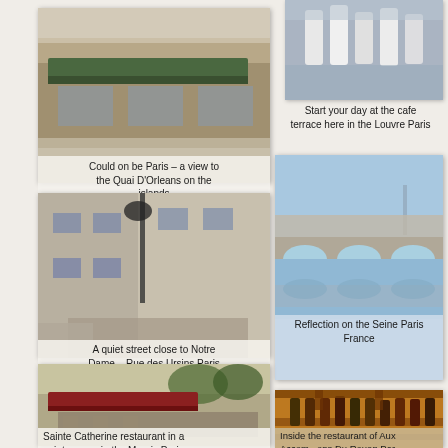[Figure (photo): Paris cafe exterior with green awning, Quai D'Orleans view]
Could on be Paris – a view to the Quai D'Orleans on the islands
[Figure (photo): Cafe terrace at the Louvre Paris, waiters in white]
Start your day at the cafe terrace here in the Louvre Paris
[Figure (photo): Quiet street close to Notre Dame, lamp post, stone buildings]
A quiet street close to Notre Dame – Rue des Ursins Paris
[Figure (photo): Bridge reflection on the Seine river Paris France, blue sky]
Reflection on the Seine Paris France
[Figure (photo): Sainte Catherine restaurant exterior with red awning, crowded square in the Marais Paris]
Sainte Catherine restaurant in a quiet square in the Marais Paris
[Figure (photo): Inside the restaurant of Aux Accommodations Du Rouen, wine bottles on shelf]
Inside the restaurant of Aux Accommodations Du Rouen Par...